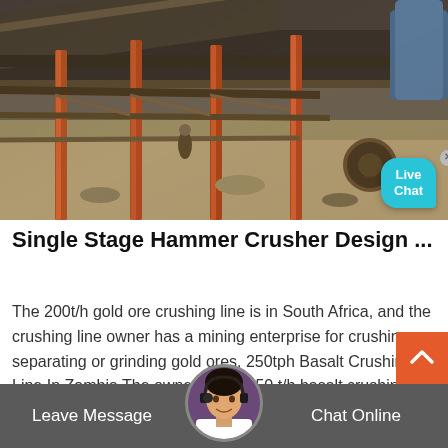[Figure (photo): Industrial gold ore crushing facility with metal conveyor structures, orange/rust-colored steel poles, and workers visible on the ground. Screenshot also shows a Live Chat bubble in the bottom-right corner of the image.]
Single Stage Hammer Crusher Design ...
The 200t/h gold ore crushing line is in South Africa, and the crushing line owner has a mining enterprise for crushing, separating or grinding gold ores. 250tph Basalt Crushing Line In Zambia The owner of the 250 t/h basalt crushing line owns a large mining farm in Zambia.
Leave Message   Chat Online